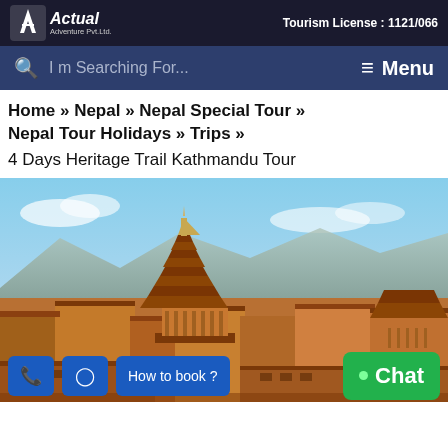Actual Adventure Pvt. Ltd. | Tourism License : 1121/066
I m Searching For... ≡ Menu
Home » Nepal » Nepal Special Tour » Nepal Tour Holidays » Trips »
4 Days Heritage Trail Kathmandu Tour
[Figure (photo): Panoramic view of Kathmandu valley with traditional Newari pagoda temples and terracotta rooftops against a mountain backdrop and blue sky]
☎  ⊙  How to book ?  Chat